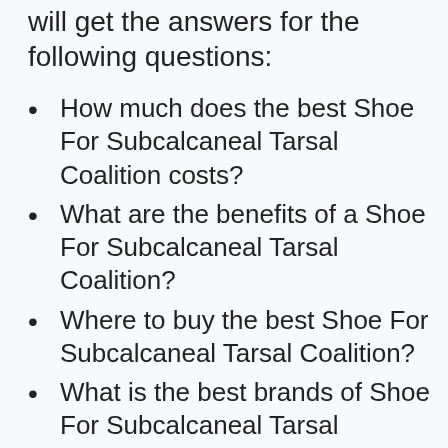will get the answers for the following questions:
How much does the best Shoe For Subcalcaneal Tarsal Coalition costs?
What are the benefits of a Shoe For Subcalcaneal Tarsal Coalition?
Where to buy the best Shoe For Subcalcaneal Tarsal Coalition?
What is the best brands of Shoe For Subcalcaneal Tarsal Coalition?
How long does a Shoe For Subcalcaneal Tarsal Coalition last?
Does Shoe For Subcalcaneal